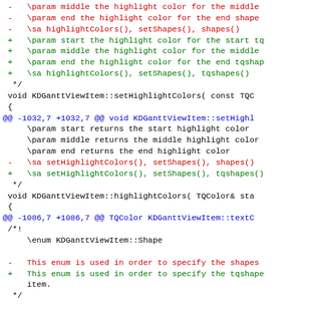diff/patch code showing changes to KDGanttViewItem methods, including setHighlightColors, highlightColors, textColor, and Shape enum documentation
[Figure (screenshot): Source code diff showing red (removed) and green (added) lines in a patch format for KDGanttViewItem C++ source file, with blue @@ diff markers and black unchanged lines]